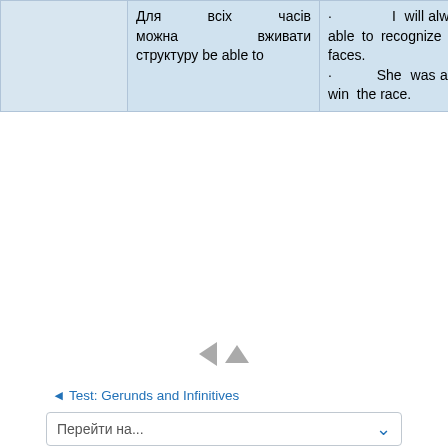|  | Для всіх часів можна вживати структуру be able to | · I will always be able to recognize their faces.
· She was able to win the race. |
[Figure (other): Navigation icons: left-pointing triangle and up-pointing triangle in gray]
◄ Test: Gerunds and Infinitives
Перейти на...
Test: Modal Verbs ►
ОГЛАВЛЕНИЕ
1. Modals